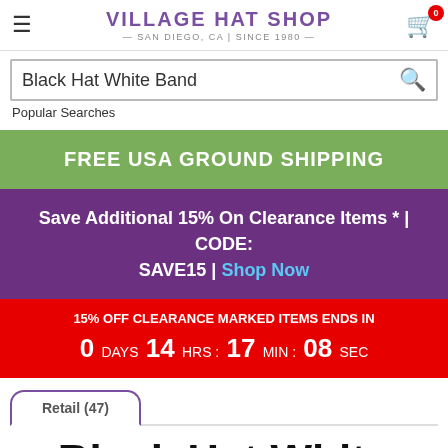Village Hat Shop — San Diego, CA | Since 1980
Black Hat White Band
Popular Searches
FREE USA GROUND SHIPPING
Save Additional 15% On Clearance Items * | CODE: SAVE15 | Shop Now
15% OFF CLEARANCE MARKED ITEMS ENDS IN 0 DAYS 14 HRS : 17 MIN : 08 SEC
Retail (47)
Black Hat White Band